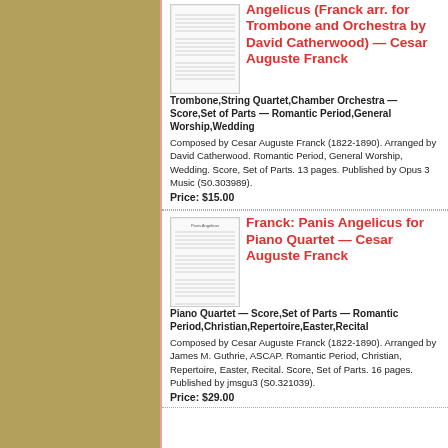Angelicus (Franck arr. for Trombone and Orchestra by David Catherwood) — Cesar Auguste Franck
Trombone,String Quartet,Chamber Orchestra — Score,Set of Parts — Romantic Period,General Worship,Wedding
Composed by Cesar Auguste Franck (1822-1890). Arranged by David Catherwood. Romantic Period, General Worship, Wedding. Score, Set of Parts. 13 pages. Published by Opus 3 Music (S0.303989).
Price: $15.00
Franck: Panis Angelicus for Piano Quartet — Cesar Auguste Franck
Piano Quartet — Score,Set of Parts — Romantic Period,Christian,Repertoire,Easter,Recital
Composed by Cesar Auguste Franck (1822-1890). Arranged by James M. Guthrie, ASCAP. Romantic Period, Christian, Repertoire, Easter, Recital. Score, Set of Parts. 16 pages. Published by jmsgu3 (S0.321039).
Price: $29.00